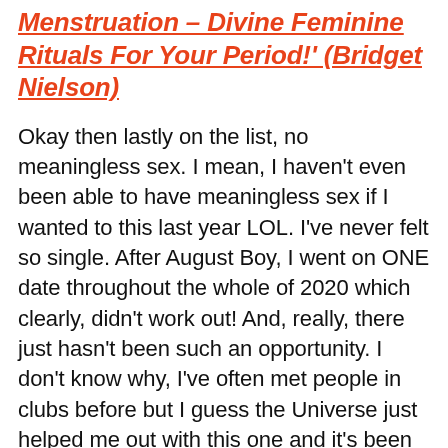Menstruation – Divine Feminine Rituals For Your Period!' (Bridget Nielson)
Okay then lastly on the list, no meaningless sex. I mean, I haven't even been able to have meaningless sex if I wanted to this last year LOL. I've never felt so single. After August Boy, I went on ONE date throughout the whole of 2020 which clearly, didn't work out! And, really, there just hasn't been such an opportunity. I don't know why, I've often met people in clubs before but I guess the Universe just helped me out with this one and it's been the right thing for me, I haven't been given any opportunity to have meaningless sex and it's GOOD. I am glad. I plan on sticking to it!
What I know is now, probably a little inspired by Jane The Virgin (yes I'm obsessed), is that I really